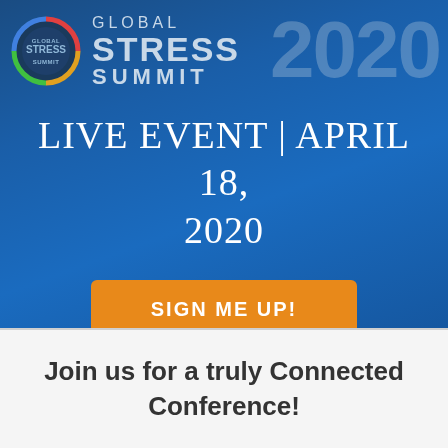[Figure (logo): Global Stress Summit 2020 logo with circular badge and large text, on dark blue gradient background]
LIVE EVENT | APRIL 18, 2020
SIGN ME UP!
Join us for a truly Connected Conference!